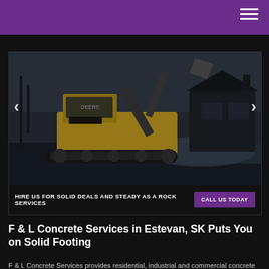[Figure (photo): Construction excavator (John Deere) working outdoors in winter/snowy environment near a house. Dark, moody photo with slider navigation arrows on left and right.]
HIRE US FOR SOLID DEALS AND STEADY AS A ROCK SERVICES   CALL US TODAY
F & L Concrete Services in Estevan, SK Puts You on Solid Footing
F & L Concrete Services provides residential, industrial and commercial concrete solutions to customers in southeastern Saskatchewan, Estevan and the surrounding areas.
Services